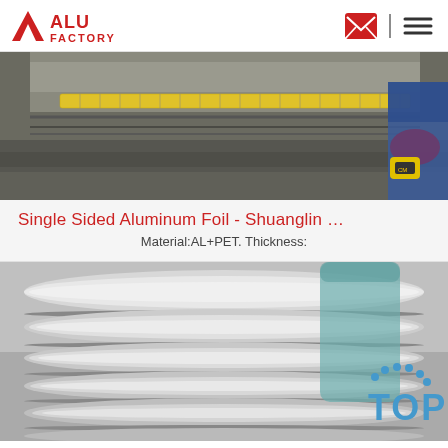ALU FACTORY
[Figure (photo): Photo of an aluminum foil sheet being measured with a yellow tape measure, with a person wearing blue and dark gloves holding the tape measure at right edge.]
Single Sided Aluminum Foil - Shuanglin …
Material:AL+PET. Thickness:
[Figure (photo): Photo of shiny metallic aluminum strip coils stacked horizontally, with a blue 'TOP' watermark logo with dots in the lower right corner.]